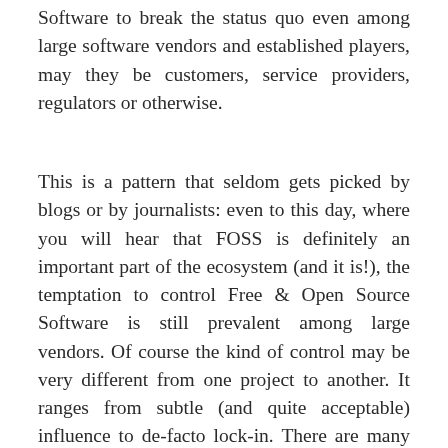Software to break the status quo even among large software vendors and established players, may they be customers, service providers, regulators or otherwise.
This is a pattern that seldom gets picked by blogs or by journalists: even to this day, where you will hear that FOSS is definitely an important part of the ecosystem (and it is!), the temptation to control Free & Open Source Software is still prevalent among large vendors. Of course the kind of control may be very different from one project to another. It ranges from subtle (and quite acceptable) influence to de-facto lock-in. There are many shades of grey in this area. In this regard, Software Freedom does not preclude such control and arm-